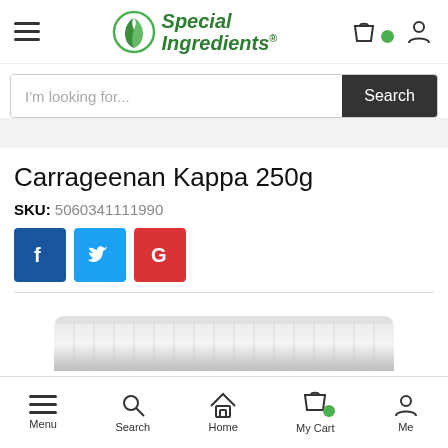Special Ingredients
I'm looking for...
Carrageenan Kappa 250g
SKU: 5060341111990
[Figure (screenshot): Facebook, Twitter, and Google+ share buttons]
[Figure (photo): Top portion of a white plastic jar/container lid]
Menu  Search  Home  My Cart  Me